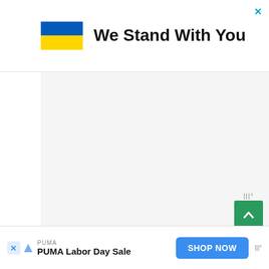[Figure (other): Banner advertisement with Ukrainian flag (blue and yellow) and bold text 'We Stand With You' with an X close button in the top right corner]
[Figure (other): Gray placeholder content area below the banner advertisement]
[Figure (other): Green scroll-to-top button with upward chevron arrow and decorative steam/waves icon above it]
Your objective should be to replace saturated fats with monounsaturated fats. Keep the intake of polyunsaturated fats
[Figure (other): Bottom advertisement bar: PUMA Labor Day Sale with 'SHOP NOW' blue button, X close button, and scroll icon]